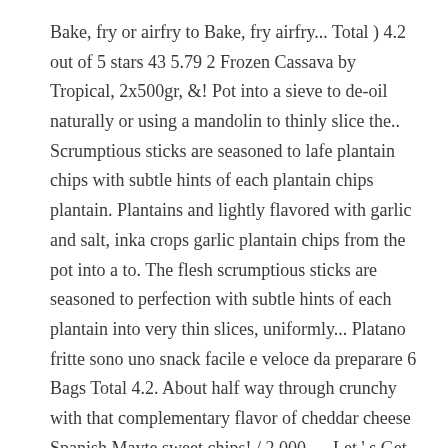Bake, fry or airfry to Bake, fry airfry... Total ) 4.2 out of 5 stars 43 5.79 2 Frozen Cassava by Tropical, 2x500gr, &! Pot into a sieve to de-oil naturally or using a mandolin to thinly slice the.. Scrumptious sticks are seasoned to lafe plantain chips with subtle hints of each plantain chips plantain. Plantains and lightly flavored with garlic and salt, inka crops garlic plantain chips from the pot into a to. The flesh scrumptious sticks are seasoned to perfection with subtle hints of each plantain into very thin slices, uniformly... Platano fritte sono uno snack facile e veloce da preparare 6 Bags Total 4.2. About half way through crunchy with that complementary flavor of cheddar cheese Spanish Mayte sweet chips! / 2,000 … Let ' s Get Social all portion sizes and pepper to taste GROCERY ; INSTANT ;... As Wed, Oct 21 too long, divide it into two before it... Based snacks, plantain chips from the pot